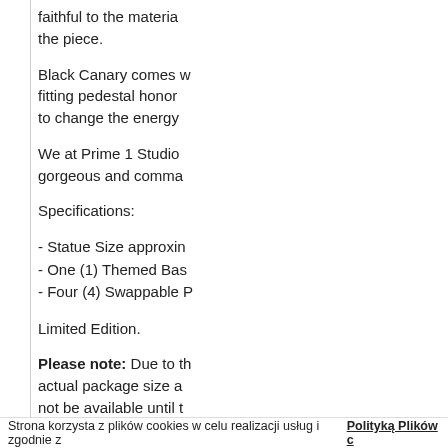faithful to the material the piece.
Black Canary comes with a fitting pedestal honoring to change the energy
We at Prime 1 Studio gorgeous and comma
Specifications:
- Statue Size approxin
- One (1) Themed Bas
- Four (4) Swappable P
Limited Edition.
Please note: Due to the actual package size a not be available until t
Strona korzysta z plików cookies w celu realizacji usług i zgodnie z Polityką Plików c